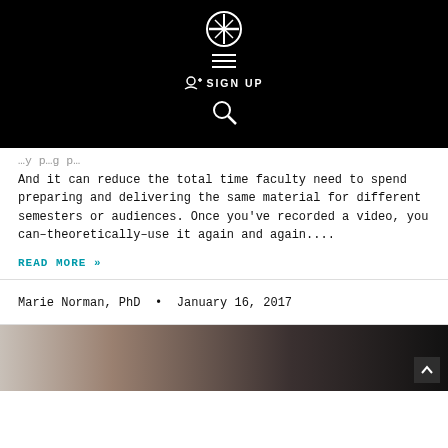[Figure (logo): Website logo with hamburger menu, sign up button, and search icon on black background]
And it can reduce the total time faculty need to spend preparing and delivering the same material for different semesters or audiences. Once you've recorded a video, you can–theoretically–use it again and again....
READ MORE »
Marie Norman, PhD • January 16, 2017
[Figure (photo): Partial photo of a person, dark toned]